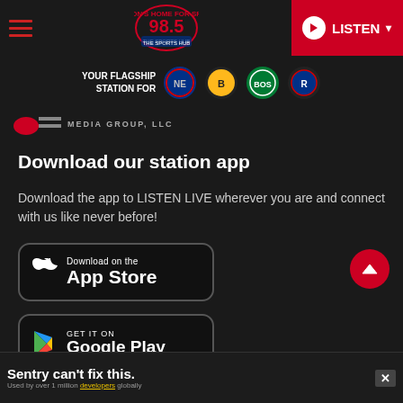98.5 The Sports Hub - LISTEN
[Figure (logo): 98.5 The Sports Hub logo with team logos: Patriots, Bruins, Celtics, and Revolution. YOUR FLAGSHIP STATION FOR text.]
[Figure (logo): Red partial logo with MEDIA GROUP, LLC text]
Download our station app
Download the app to LISTEN LIVE wherever you are and connect with us like never before!
[Figure (screenshot): Download on the App Store button]
[Figure (screenshot): GET IT ON Google Play button]
Sentry can't fix this. Used by over 1 million developers globally